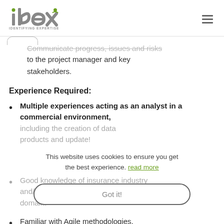idex - IDENTIFYING EXPERTISE
Communicate progress, issues and risks to the project manager and key stakeholders.
Experience Required:
Multiple experiences acting as an analyst in a commercial environment, including the creation of data products and update!
This website uses cookies to ensure you get the best experience. read more
Good knowledge of insurance industry and/or having worked in the Finance domain.
Got it!
Familiar with Agile methodologies.